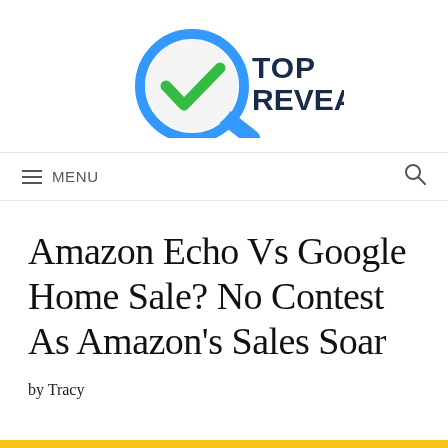[Figure (logo): Top Reveal logo: a magnifying glass with a blue circle and green checkmark inside, with the text TOP REVEAL in bold dark blue to the right]
≡ MENU  🔍
Amazon Echo Vs Google Home Sale? No Contest As Amazon's Sales Soar
by Tracy